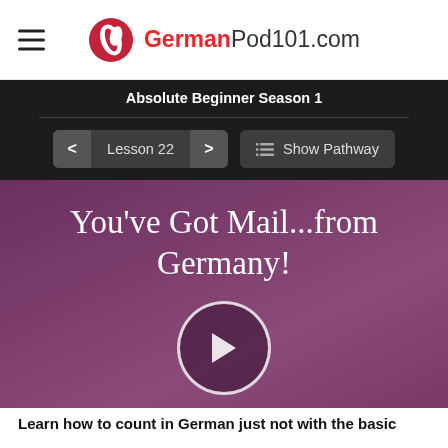GermanPod101.com
Absolute Beginner Season 1
Lesson 22  Show Pathway
You've Got Mail...from Germany!
[Figure (other): Play button — circular white-bordered play icon on purple background]
Learn how to count in German just not with the basic